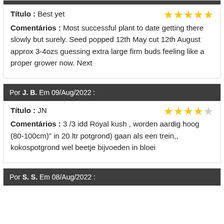Título : Best yet | Comentários : Most successful plant to date getting there slowly but surely. Seed popped 12th May cut 12th August approx 3-4ozs guessing extra large firm buds feeling like a proper grower now. Next
Por J. B. Em 09/Aug/2022 :
Título : JN | Comentários : 3 /3 idd Royal kush , worden aardig hoog (80-100cm)" in 20 ltr potgrond) gaan als een trein,, kokospotgrond wel beetje bijvoeden in bloei
Por S. S. Em 08/Aug/2022 :